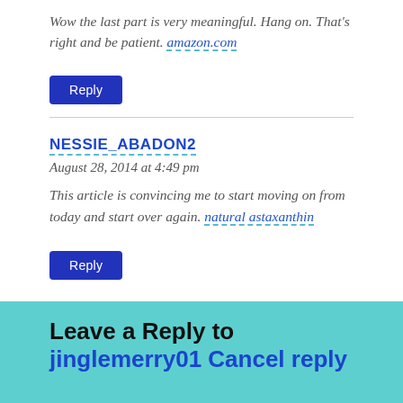Wow the last part is very meaningful. Hang on. That's right and be patient. amazon.com
Reply
NESSIE_ABADON2
August 28, 2014 at 4:49 pm
This article is convincing me to start moving on from today and start over again. natural astaxanthin
Reply
Leave a Reply to jinglemerry01 Cancel reply